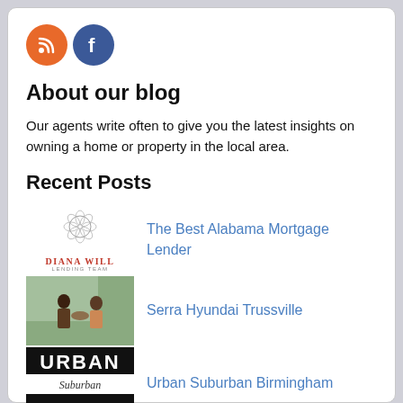[Figure (other): RSS feed icon (orange circle) and Facebook icon (blue circle)]
About our blog
Our agents write often to give you the latest insights on owning a home or property in the local area.
Recent Posts
[Figure (logo): Diana Will Lending Team logo with floral design]
The Best Alabama Mortgage Lender
[Figure (photo): Photo of two people shaking hands indoors]
Serra Hyundai Trussville
[Figure (logo): Urban Suburban Birmingham logo with black background]
Urban Suburban Birmingham